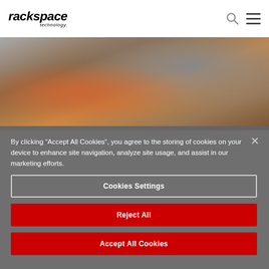rackspace technology
[Figure (photo): Person working at a desk with laptop and phone, wood surface visible]
WHITE PAPER
By clicking “Accept All Cookies”, you agree to the storing of cookies on your device to enhance site navigation, analyze site usage, and assist in our marketing efforts.
Cookies Settings
Reject All
Accept All Cookies